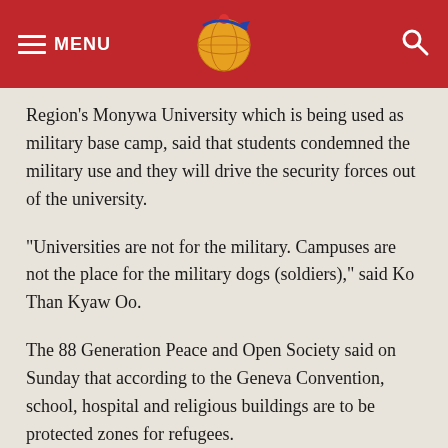MENU [logo] [search]
Region's Monywa University which is being used as military base camp, said that students condemned the military use and they will drive the security forces out of the university.
“Universities are not for the military. Campuses are not the place for the military dogs (soldiers),” said Ko Than Kyaw Oo.
The 88 Generation Peace and Open Society said on Sunday that according to the Geneva Convention, school, hospital and religious buildings are to be protected zones for refugees.
Occupying those protected zones by the police and